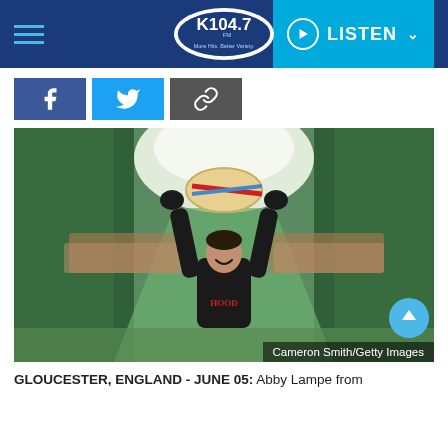K104.7 FM — More Hits, Better Variety | LISTEN
[Figure (other): Social share buttons: Facebook (blue), Twitter (light blue), Link/copy (dark gray)]
[Figure (photo): Abby Lampe holding up a wheel of cheese overhead on a grassy hill at Cooper's Hill Cheese-Rolling event in Gloucester, England, June 05. Crowds of spectators line both sides of the steep hill. Trees visible in background. She is smiling, wearing black gloves and a black hoodie. Photo credit: Cameron Smith/Getty Images]
GLOUCESTER, ENGLAND - JUNE 05: Abby Lampe from